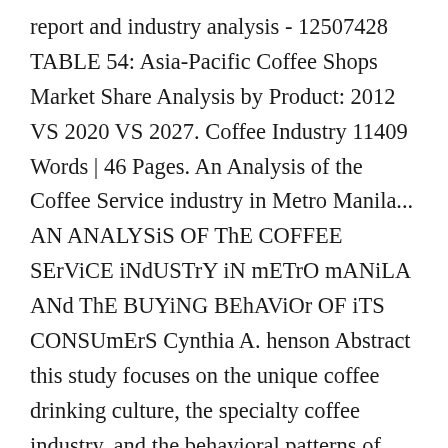report and industry analysis - 12507428 TABLE 54: Asia-Pacific Coffee Shops Market Share Analysis by Product: 2012 VS 2020 VS 2027. Coffee Industry 11409 Words | 46 Pages. An Analysis of the Coffee Service industry in Metro Manila... AN ANALYSiS OF ThE COFFEE SErViCE iNdUSTrY iN mETrO mANiLA ANd ThE BUYiNG BEhAViOr OF iTS CONSUmErS Cynthia A. henson Abstract this study focuses on the unique coffee drinking culture, the specialty coffee industry, and the behavioral patterns of coffee drinkers. This contains 5 years of historical data and five-year forecasts.This Market size report gives an instant overview of the Philippines Coffee Market There are of